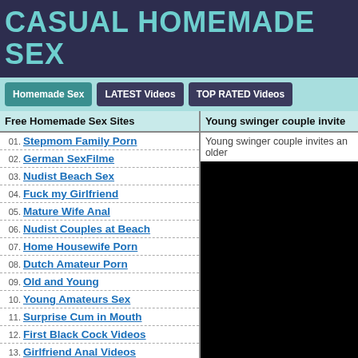CASUAL HOMEMADE SEX
Homemade Sex
LATEST Videos
TOP RATED Videos
Free Homemade Sex Sites
Young swinger couple invite
01. Stepmom Family Porn
02. German SexFilme
03. Nudist Beach Sex
04. Fuck my Girlfriend
05. Mature Wife Anal
06. Nudist Couples at Beach
07. Home Housewife Porn
08. Dutch Amateur Porn
09. Old and Young
10. Young Amateurs Sex
11. Surprise Cum in Mouth
12. First Black Cock Videos
13. Girlfriend Anal Videos
Young swinger couple invites an older
[Figure (photo): Black/blank video thumbnail]